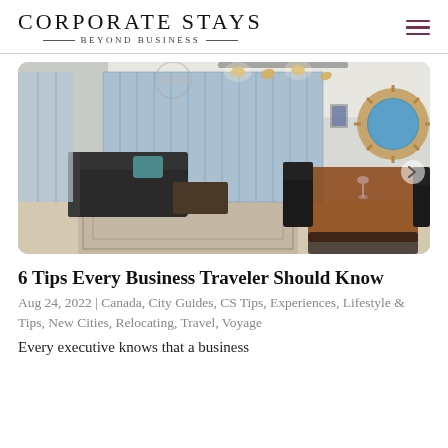CORPORATE STAYS — BEYOND BUSINESS
[Figure (photo): Interior photo of a furnished corporate apartment with dining table, chairs, sofa, large windows with vertical blinds, track lighting, and a decorative sunburst mirror on the wall.]
6 Tips Every Business Traveler Should Know
Aug 24, 2022 | Canada, City Guides, CS Tips, Experiences, Lifestyle & Tips, New Cities, Relocating, Travel, Voyage
Every executive knows that a business